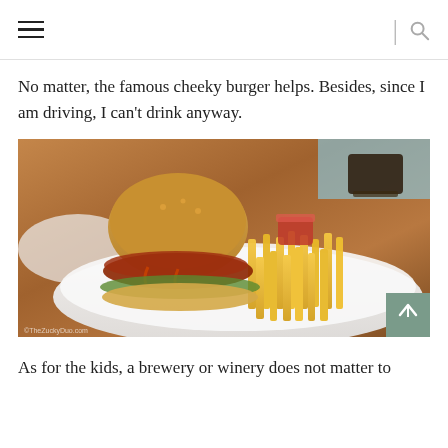navigation header with hamburger menu and search icon
No matter, the famous cheeky burger helps. Besides, since I am driving, I can't drink anyway.
[Figure (photo): A burger with bacon, lettuce, and sauce served on a white plate with a large portion of french fries and a small cup of dipping sauce, on a wooden restaurant table.]
As for the kids, a brewery or winery does not matter to